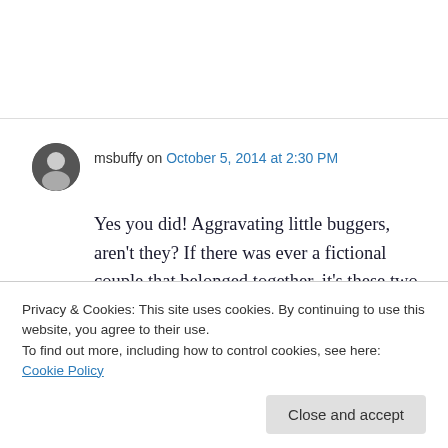msbuffy on October 5, 2014 at 2:30 PM
Yes you did! Aggravating little buggers, aren't they? If there was ever a fictional couple that belonged together, it's these two. Perhaps they should just resort to writing notes and having Willa pass them back & forth? In nearly every incarnation where it's derived from canon, these two aggravate the shit out of me! Love the idea...
Privacy & Cookies: This site uses cookies. By continuing to use this website, you agree to their use.
To find out more, including how to control cookies, see here: Cookie Policy
the fuck up emotionally...)